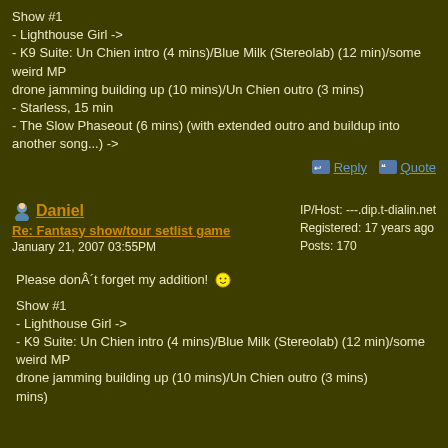Show #1
- Lighthouse Girl ->
- K9 Suite: Un Chien intro (4 mins)/Blue Milk (Stereolab) (12 min)/some weird MP
drone jamming building up (10 mins)/Un Chien outro (3 mins)
- Starless, 15 min
- The Slow Phaseout (6 mins) (with extended outro and buildup into another song...) ->
Reply   Quote
Daniel
Re: Fantasy show/tour setlist game
January 21, 2007 03:55PM
IP/Host: ---.dip.t-dialin.net
Registered: 17 years ago
Posts: 170
Please donÂ´t forget my addition! 🙂
Show #1
- Lighthouse Girl ->
- K9 Suite: Un Chien intro (4 mins)/Blue Milk (Stereolab) (12 min)/some weird MP
drone jamming building up (10 mins)/Un Chien outro (3 mins)
mins)